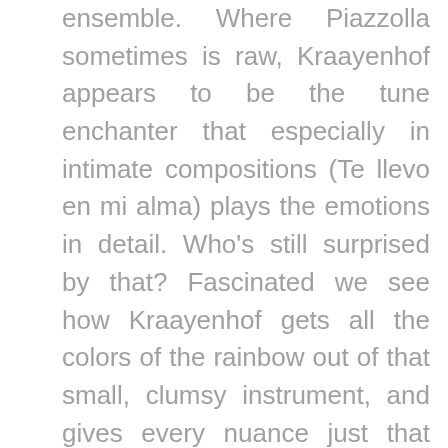ensemble. Where Piazzolla sometimes is raw, Kraayenhof appears to be the tune enchanter that especially in intimate compositions (Te llevo en mi alma) plays the emotions in detail. Who's still surprised by that? Fascinated we see how Kraayenhof gets all the colors of the rainbow out of that small, clumsy instrument, and gives every nuance just that little bit of effect. His ensemble, with old friends like Dobal (piano), Branderhorst (bass) and Vos (violin), is complemented by Huisingh (violin), Grapperhaus (viola) and Brederhorst (cello). In attendance they seem like a lanky friends club that plays in a community center. But appearances are deceptive: this is on the razor's edge and also exceptionally supple